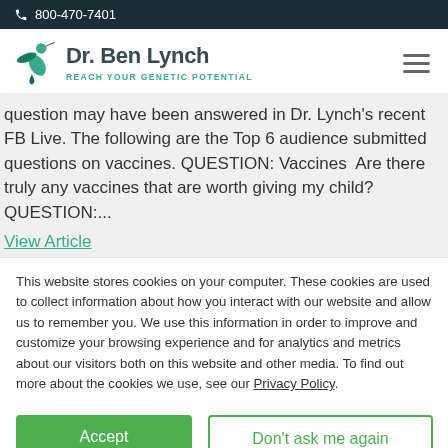800-470-7401
[Figure (logo): Dr. Ben Lynch logo with hummingbird and tagline REACH YOUR GENETIC POTENTIAL]
question may have been answered in Dr. Lynch's recent FB Live. The following are the Top 6 audience submitted questions on vaccines. QUESTION: Vaccines  Are there truly any vaccines that are worth giving my child? QUESTION:...
View Article
This website stores cookies on your computer. These cookies are used to collect information about how you interact with our website and allow us to remember you. We use this information in order to improve and customize your browsing experience and for analytics and metrics about our visitors both on this website and other media. To find out more about the cookies we use, see our Privacy Policy.
Accept | Don't ask me again